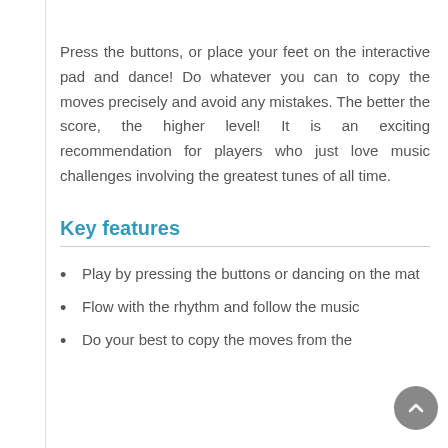Press the buttons, or place your feet on the interactive pad and dance! Do whatever you can to copy the moves precisely and avoid any mistakes. The better the score, the higher level! It is an exciting recommendation for players who just love music challenges involving the greatest tunes of all time.
Key features
Play by pressing the buttons or dancing on the mat
Flow with the rhythm and follow the music
Do your best to copy the moves from the